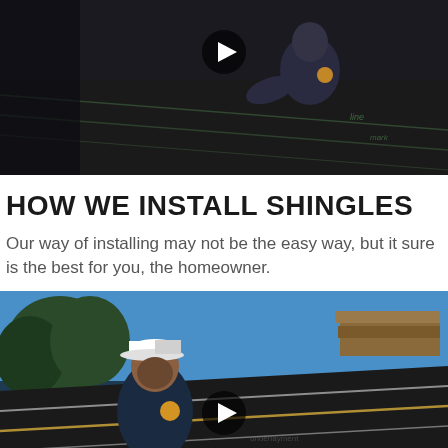[Figure (screenshot): Video thumbnail showing a roofing worker in a dark blue polo shirt kneeling on a dark roof with chalk markings, with a play button overlay in the center top area]
HOW WE INSTALL SHINGLES
Our way of installing may not be the easy way, but it sure is the best for you, the homeowner.
[Figure (screenshot): Video thumbnail showing a man in a white cap and dark blue polo shirt standing on a roof covered with black roofing underlayment with chalk lines, with trees and blue sky in background, and a play button overlay]